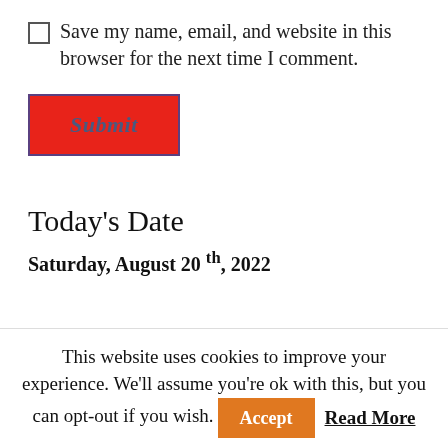Save my name, email, and website in this browser for the next time I comment.
Submit
Today's Date
Saturday, August 20 th, 2022
| Top Brokers |
| --- |
This website uses cookies to improve your experience. We'll assume you're ok with this, but you can opt-out if you wish. Accept Read More